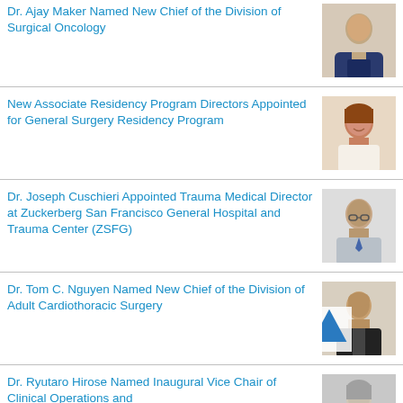Dr. Ajay Maker Named New Chief of the Division of Surgical Oncology
[Figure (photo): Headshot of Dr. Ajay Maker in suit, arms crossed]
New Associate Residency Program Directors Appointed for General Surgery Residency Program
[Figure (photo): Headshot of a woman with brown hair smiling]
Dr. Joseph Cuschieri Appointed Trauma Medical Director at Zuckerberg San Francisco General Hospital and Trauma Center (ZSFG)
[Figure (photo): Headshot of a man with glasses in a suit]
Dr. Tom C. Nguyen Named New Chief of the Division of Adult Cardiothoracic Surgery
[Figure (photo): Headshot of Dr. Tom C. Nguyen with an up arrow overlay]
Dr. Ryutaro Hirose Named Inaugural Vice Chair of Clinical Operations and